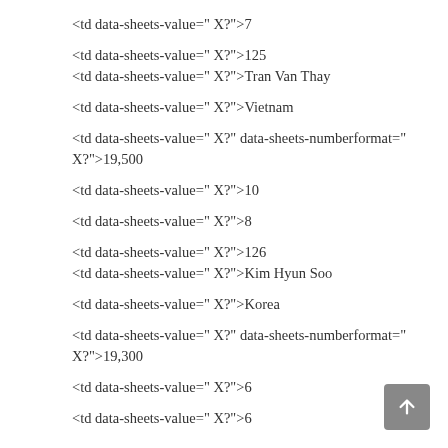<td data-sheets-value=" X?">7
<td data-sheets-value=" X?">125
<td data-sheets-value=" X?">Tran Van Thay
<td data-sheets-value=" X?">Vietnam
<td data-sheets-value=" X?" data-sheets-numberformat=" X?">19,500
<td data-sheets-value=" X?">10
<td data-sheets-value=" X?">8
<td data-sheets-value=" X?">126
<td data-sheets-value=" X?">Kim Hyun Soo
<td data-sheets-value=" X?">Korea
<td data-sheets-value=" X?" data-sheets-numberformat=" X?">19,300
<td data-sheets-value=" X?">6
<td data-sheets-value=" X?">6